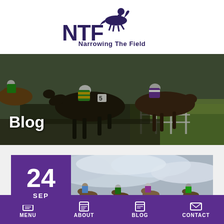[Figure (logo): NTF (Narrowing The Field) logo with horse and jockey silhouette above bold NTF letters and tagline 'Narrowing The Field']
[Figure (photo): Photo of racehorses and jockeys jumping a hurdle during a race, with text 'Blog' overlaid in white]
[Figure (photo): Card image showing horses and jockeys at the start, with a purple date box showing '24 SEP']
MENU   ABOUT   BLOG   CONTACT